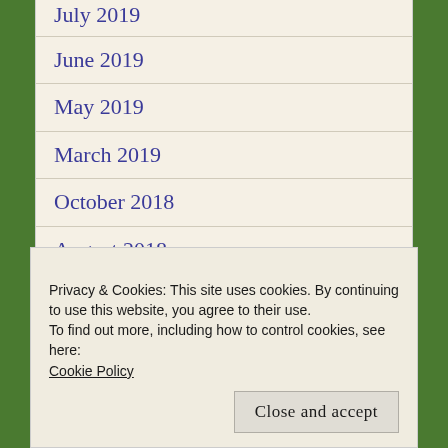July 2019
June 2019
May 2019
March 2019
October 2018
August 2018
July 2018
June 2018
May 2018
Privacy & Cookies: This site uses cookies. By continuing to use this website, you agree to their use.
To find out more, including how to control cookies, see here: Cookie Policy
Close and accept